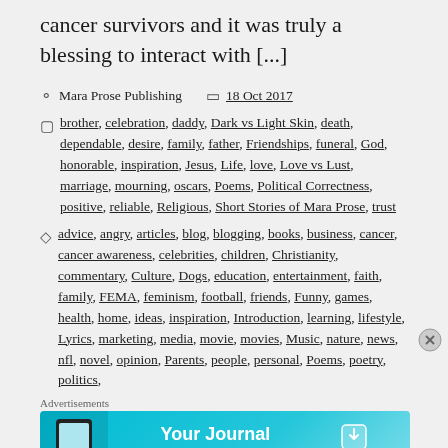cancer survivors and it was truly a blessing to interact with [...]
Mara Prose Publishing   18 Oct 2017
Categories: brother, celebration, daddy, Dark vs Light Skin, death, dependable, desire, family, father, Friendships, funeral, God, honorable, inspiration, Jesus, Life, love, Love vs Lust, marriage, mourning, oscars, Poems, Political Correctness, positive, reliable, Religious, Short Stories of Mara Prose, trust
Tags: advice, angry, articles, blog, blogging, books, business, cancer, cancer awareness, celebrities, children, Christianity, commentary, Culture, Dogs, education, entertainment, faith, family, FEMA, feminism, football, friends, Funny, games, health, home, ideas, inspiration, Introduction, learning, lifestyle, Lyrics, marketing, media, movie, movies, Music, nature, news, nfl, novel, opinion, Parents, people, personal, Poems, poetry, politics,
Advertisements
[Figure (other): Day One app advertisement banner: Your Journal for life]